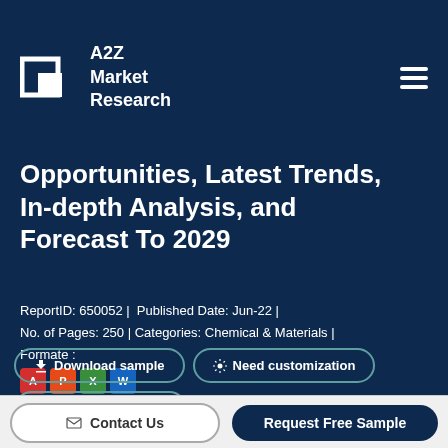A2Z Market Research
Opportunities, Latest Trends, In-depth Analysis, and Forecast To 2029
ReportID: 650052 | Published Date: Jun-22 | No. of Pages: 250 | Categories: Chemical & Materials | Formate :
Download sample | Need customization | Ask for a discount
Contact Us | Request Free Sample